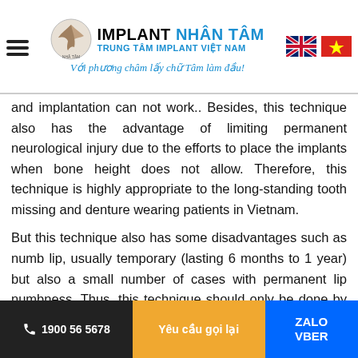IMPLANT NHÂN TÂM - TRUNG TÂM IMPLANT VIỆT NAM - Với phương châm lấy chữ Tâm làm đầu!
and implantation can not work.. Besides, this technique also has the advantage of limiting permanent neurological injury due to the efforts to place the implants when bone height does not allow. Therefore, this technique is highly appropriate to the long-standing tooth missing and denture wearing patients in Vietnam.
But this technique also has some disadvantages such as numb lip, usually temporary (lasting 6 months to 1 year) but also a small number of cases with permanent lip numbness. Thus, this technique should only be done by experienced and skilled doctors.
1900 56 5678 | Yêu cầu gọi lại | ZALO VBER